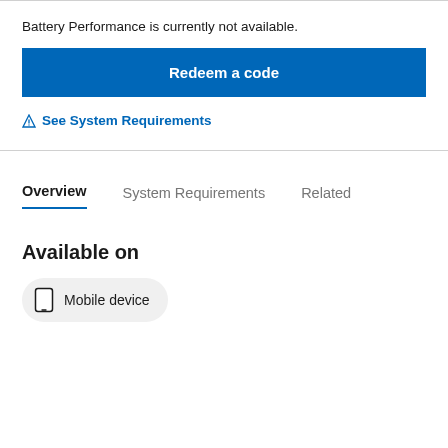Battery Performance is currently not available.
Redeem a code
See System Requirements
Overview	System Requirements	Related
Available on
Mobile device